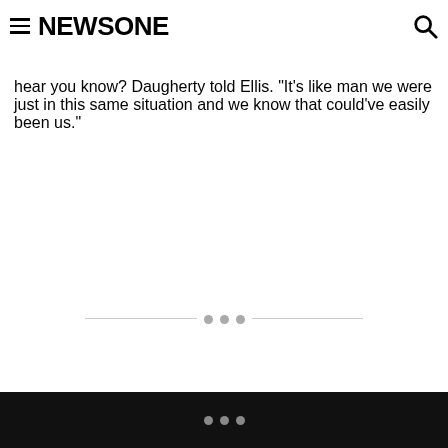NEWSONE
hear you know? Daugherty told Ellis. "It's like man we were just in this same situation and we know that could've easily been us."